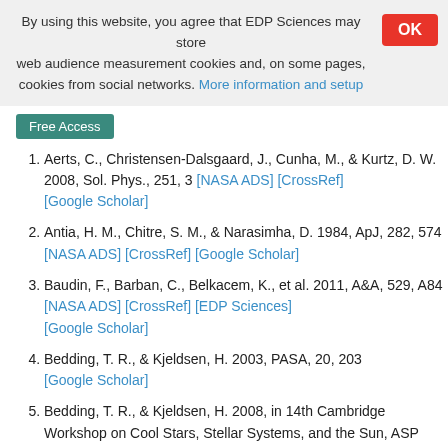By using this website, you agree that EDP Sciences may store web audience measurement cookies and, on some pages, cookies from social networks. More information and setup
Free Access
1. Aerts, C., Christensen-Dalsgaard, J., Cunha, M., & Kurtz, D. W. 2008, Sol. Phys., 251, 3 [NASA ADS] [CrossRef] [Google Scholar]
2. Antia, H. M., Chitre, S. M., & Narasimha, D. 1984, ApJ, 282, 574 [NASA ADS] [CrossRef] [Google Scholar]
3. Baudin, F., Barban, C., Belkacem, K., et al. 2011, A&A, 529, A84 [NASA ADS] [CrossRef] [EDP Sciences] [Google Scholar]
4. Bedding, T. R., & Kjeldsen, H. 2003, PASA, 20, 203 [Google Scholar]
5. Bedding, T. R., & Kjeldsen, H. 2008, in 14th Cambridge Workshop on Cool Stars, Stellar Systems, and the Sun, ASP